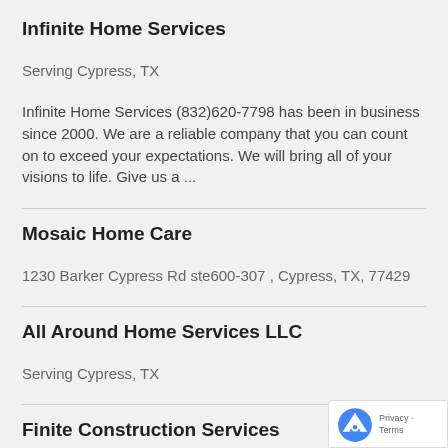Infinite Home Services
Serving Cypress, TX
Infinite Home Services (832)620-7798 has been in business since 2000. We are a reliable company that you can count on to exceed your expectations. We will bring all of your visions to life. Give us a ...
Mosaic Home Care
1230 Barker Cypress Rd ste600-307 , Cypress, TX, 77429
All Around Home Services LLC
Serving Cypress, TX
Finite Construction Services
Serving Cypress, TX
As water and sunlight nurture plants, service nurtures the consumer relationship. Our philosophy of "restoring the art of